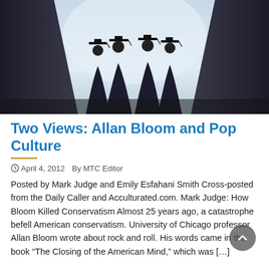[Figure (photo): Silhouettes of four graduates in caps and gowns standing between large columns against a bright sky background]
Two Views: Allan Bloom and Pop Culture
April 4, 2012   By MTC Editor
Posted by Mark Judge and Emily Esfahani Smith Cross-posted from the Daily Caller and Acculturated.com. Mark Judge: How Bloom Killed Conservatism Almost 25 years ago, a catastrophe befell American conservatism. University of Chicago professor Allan Bloom wrote about rock and roll. His words came in the book “The Closing of the American Mind,” which was […]